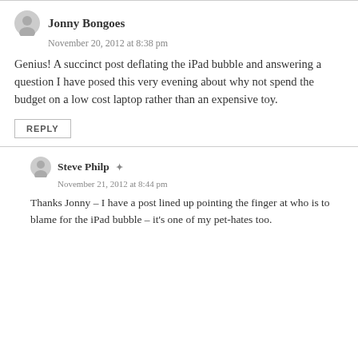Jonny Bongoes
November 20, 2012 at 8:38 pm
Genius! A succinct post deflating the iPad bubble and answering a question I have posed this very evening about why not spend the budget on a low cost laptop rather than an expensive toy.
REPLY
Steve Philp
November 21, 2012 at 8:44 pm
Thanks Jonny – I have a post lined up pointing the finger at who is to blame for the iPad bubble – it's one of my pet-hates too.